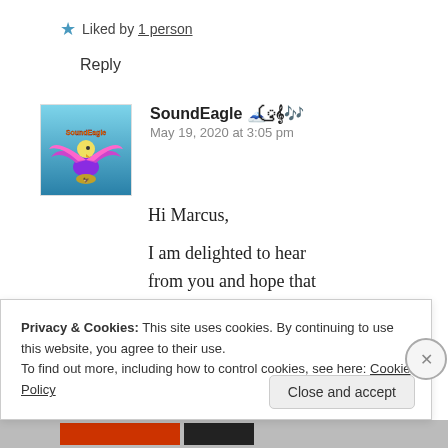★ Liked by 1 person
Reply
[Figure (logo): SoundEagle avatar/logo — eagle with spread wings on blue background]
SoundEagle 🗻ꦿ𝄞🎶
May 19, 2020 at 3:05 pm
Hi Marcus,
I am delighted to hear from you and hope that you are doing well in
Privacy & Cookies: This site uses cookies. By continuing to use this website, you agree to their use.
To find out more, including how to control cookies, see here: Cookie Policy
Close and accept